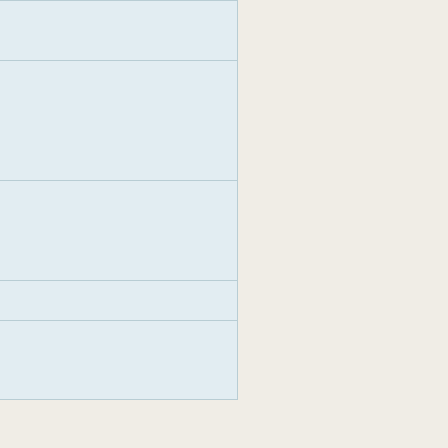| Field | Value |
| --- | --- |
| Filename | GWA_027c_JR-008.jpg |
| Copyright | The Great War Archive, University of Oxford / Primary Contributor |
| Digital repository | The Great War Archive, University of Oxford |
| Contributor name | simon gree |
| Contributed on the behalf of | Joan Green Cheltenham England |
Collection
The Great War Archive
Citation
"Group photograph taken in hospital, including James Ryan," The Great War Archive, University of Oxford / Primary Contributor via First World War Poetry Digital Archive, accessed September 1